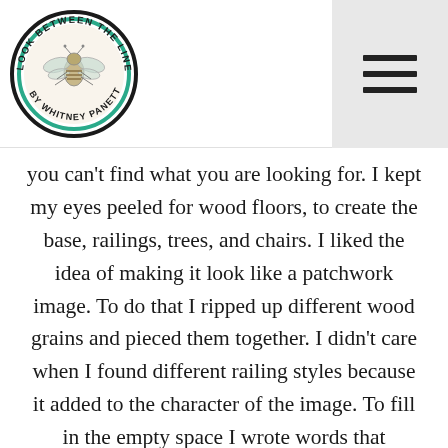[Figure (logo): Circular logo reading 'LOOK BETWEEN THE LINES BY WHITNEY PANETTA' with a fly/bee illustration in the center, teal and black accents]
[Figure (illustration): Hamburger menu icon — three horizontal black lines on a light gray background]
you can't find what you are looking for. I kept my eyes peeled for wood floors, to create the base, railings, trees, and chairs. I liked the idea of making it look like a patchwork image. To do that I ripped up different wood grains and pieced them together. I didn't care when I found different railing styles because it added to the character of the image. To fill in the empty space I wrote words that reminded me of what it felt like to sit on the porch. I